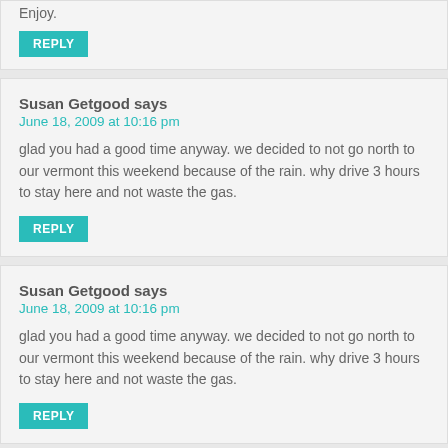Enjoy.
REPLY
Susan Getgood says
June 18, 2009 at 10:16 pm
glad you had a good time anyway. we decided to not go north to our vermont this weekend because of the rain. why drive 3 hours to stay here and not waste the gas.
REPLY
Susan Getgood says
June 18, 2009 at 10:16 pm
glad you had a good time anyway. we decided to not go north to our vermont this weekend because of the rain. why drive 3 hours to stay here and not waste the gas.
REPLY